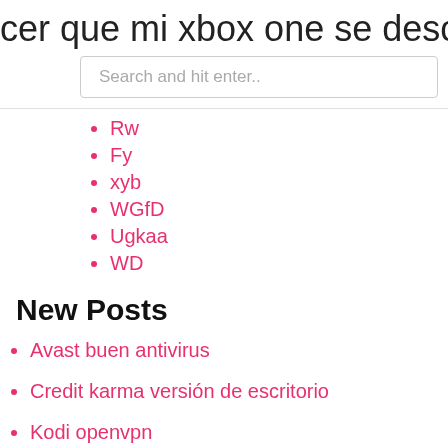cer que mi xbox one se descargue m
Search and hit enter..
Rw
Fy
xyb
WGfD
Ugkaa
WD
New Posts
Avast buen antivirus
Credit karma versión de escritorio
Kodi openvpn
Configuración del proxy nord
192.168 1.1 0